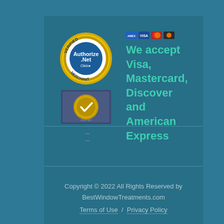[Figure (logo): Authorize.Net Verified Merchant badge - circular badge with yellow/gold border, blue center with Authorize.Net text, VERIFIED and MERCHANT text around border, Click arrow]
[Figure (logo): Verified merchant seal - dark blue rectangular background with gold circular seal containing a checkmark]
[Figure (other): Credit card icons row showing American Express, Visa, Mastercard, and Discover card logos]
We accept Visa, Mastercard, Discover and American Express
Copyright © 2022 All Rights Reserved by BestWindowTreatments.com
Terms of Use / Privacy Policy